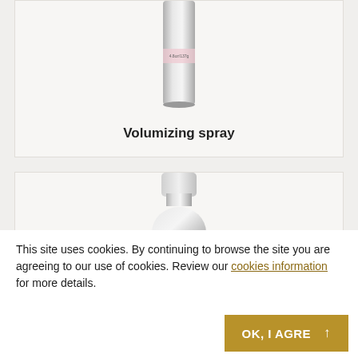[Figure (photo): Bottom portion of a silver volumizing spray bottle with pink label detail, showing size text 4.8oz/137g]
Volumizing spray
[Figure (photo): Top portion of a silver spray bottle with white cap and pink label band, partially cropped]
This site uses cookies. By continuing to browse the site you are agreeing to our use of cookies. Review our cookies information for more details.
OK, I AGREE ↑